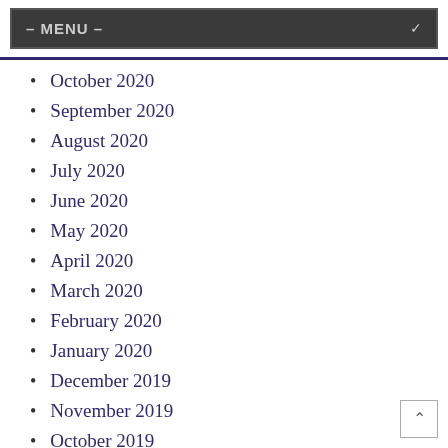– MENU –
October 2020
September 2020
August 2020
July 2020
June 2020
May 2020
April 2020
March 2020
February 2020
January 2020
December 2019
November 2019
October 2019